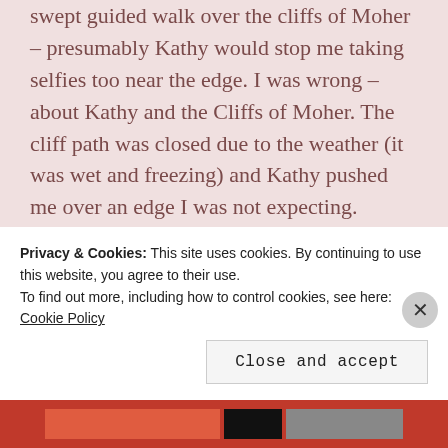swept guided walk over the cliffs of Moher – presumably Kathy would stop me taking selfies too near the edge. I was wrong – about Kathy and the Cliffs of Moher. The cliff path was closed due to the weather (it was wet and freezing) and Kathy pushed me over an edge I was not expecting.

Apparently, this was a walk involving exploration of self (remember, I had not prepared for
Privacy & Cookies: This site uses cookies. By continuing to use this website, you agree to their use.
To find out more, including how to control cookies, see here: Cookie Policy
Close and accept